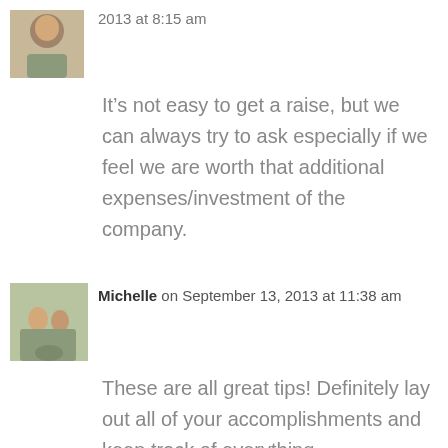[Figure (photo): Small avatar photo of a person, partially visible at top of page]
2013 at 8:15 am
It's not easy to get a raise, but we can always try to ask especially if we feel we are worth that additional expenses/investment of the company.
[Figure (photo): Avatar photo of Michelle, a couple standing outdoors]
Michelle on September 13, 2013 at 11:38 am
These are all great tips! Definitely lay out all of your accomplishments and keep track of everything.